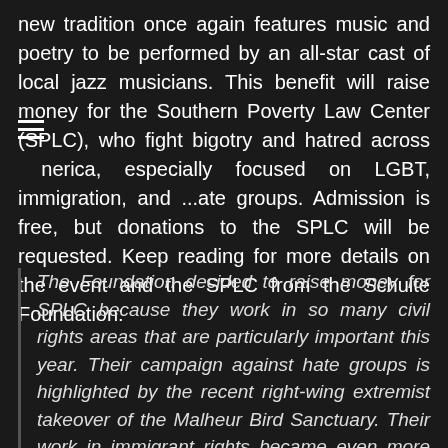new tradition once again features music and poetry to be performed by an all-star cast of local jazz musicians. This benefit will raise money for the Southern Poverty Law Center (SPLC), who fight bigotry and hatred across America, especially focused on LGBT, immigration, and hate groups. Admission is free, but donations to the SPLC will be requested. Keep reading for more details on the event and the SPLC from the Schulte Foundation:
The Foundation decided to raise money for SPLC because they work in so many civil rights areas that are particularly important this year. Their campaign against hate groups is highlighted by the recent right-wing extremist takeover of the Malheur Bird Sanctuary. Their work in immigrant rights became even more important with the recent high rhetoric about Muslim refugees. Despite the legalization of gay